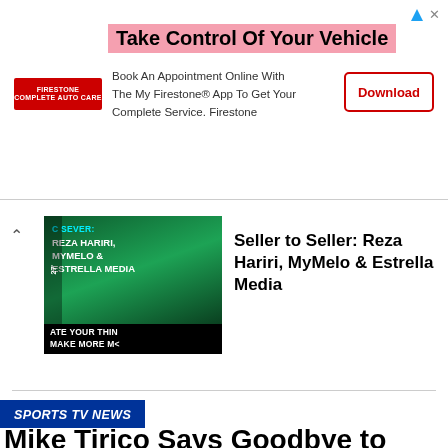[Figure (infographic): Firestone advertisement banner: 'Take Control Of Your Vehicle' headline with pink highlight, Firestone logo, body text about booking an appointment with My Firestone App, and a red-bordered Download button.]
[Figure (screenshot): Video thumbnail with green background showing 'SEVER: REZA HARIRI, MYMELO & ESTRELLA MEDIA' text in white and cyan on dark green, with black bar at bottom showing 'ATE YOUR THIN MAKE MORE M'.]
Seller to Seller: Reza Hariri, MyMelo & Estrella Media
SPORTS TV NEWS
Mike Tirico Says Goodbye to Notre Dame Football
With Tirico now in the NFL booth, he took a minute over the
[Figure (infographic): NFL Shop advertisement: NFL Shop logo text, 'Free shipping on orders over $25', 'www.nflshop.com', image of NFL jersey, close button X, and a blue circle arrow button.]